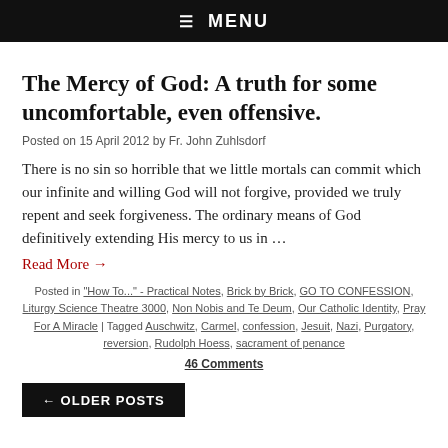☰ MENU
The Mercy of God: A truth for some uncomfortable, even offensive.
Posted on 15 April 2012 by Fr. John Zuhlsdorf
There is no sin so horrible that we little mortals can commit which our infinite and willing God will not forgive, provided we truly repent and seek forgiveness. The ordinary means of God definitively extending His mercy to us in …
Read More →
Posted in "How To..." - Practical Notes, Brick by Brick, GO TO CONFESSION, Liturgy Science Theatre 3000, Non Nobis and Te Deum, Our Catholic Identity, Pray For A Miracle | Tagged Auschwitz, Carmel, confession, Jesuit, Nazi, Purgatory, reversion, Rudolph Hoess, sacrament of penance
46 Comments
← OLDER POSTS